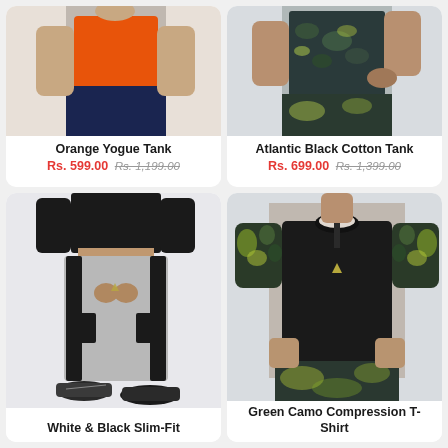[Figure (photo): Man wearing orange tank top with navy shorts, cropped at torso]
Orange Yogue Tank
Rs. 599.00 Rs. 1,199.00
[Figure (photo): Man wearing camo patterned Atlantic Black Cotton Tank, cropped at torso]
Atlantic Black Cotton Tank
Rs. 699.00 Rs. 1,399.00
[Figure (photo): Man wearing white and black slim-fit jogger pants with black sneakers]
White & Black Slim-Fit
[Figure (photo): Man wearing green camo compression t-shirt with patterned sleeves]
Green Camo Compression T-Shirt